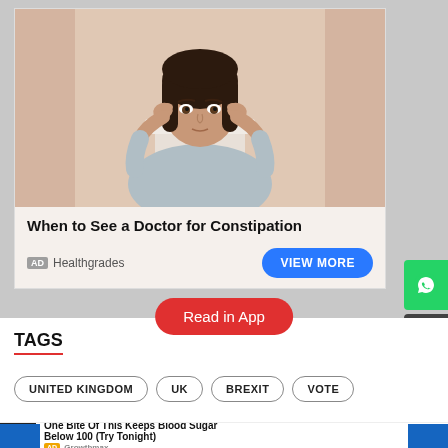[Figure (photo): Advertisement card showing a woman sitting at a desk with her hands at her temples, looking stressed or in discomfort. The image is used to promote a health article about constipation.]
When to See a Doctor for Constipation
AD Healthgrades
VIEW MORE
Read in App
TAGS
UNITED KINGDOM
UK
BREXIT
VOTE
[Figure (photo): Bottom advertisement showing dark berries/fruits with the text 'One Bite Of This Keeps Blood Sugar Below 100 (Try Tonight)' with 'AD Growthmax' label.]
One Bite Of This Keeps Blood Sugar Below 100 (Try Tonight)
AD Growthmax